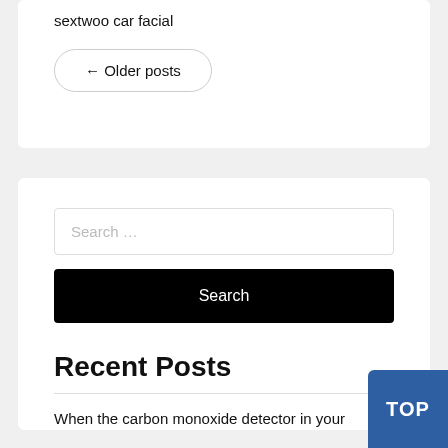sextwoo car facial
← Older posts
Search …
Search
Recent Posts
When the carbon monoxide detector in your
TOP